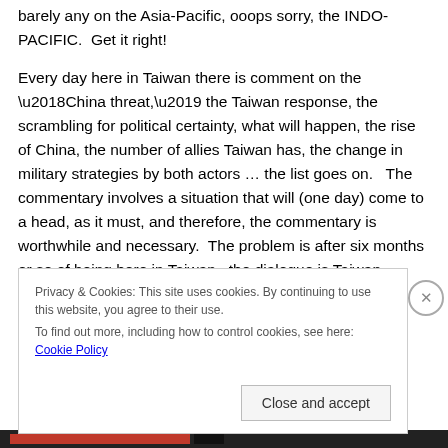barely any on the Asia-Pacific, ooops sorry, the INDO-PACIFIC.  Get it right!
Every day here in Taiwan there is comment on the ‘China threat,’ the Taiwan response, the scrambling for political certainty, what will happen, the rise of China, the number of allies Taiwan has, the change in military strategies by both actors … the list goes on.   The commentary involves a situation that will (one day) come to a head, as it must, and therefore, the commentary is worthwhile and necessary.  The problem is after six months or so of being here in Taiwan, the dialogue is Taiwan-China-US.  Serious
Privacy & Cookies: This site uses cookies. By continuing to use this website, you agree to their use.
To find out more, including how to control cookies, see here: Cookie Policy
Close and accept